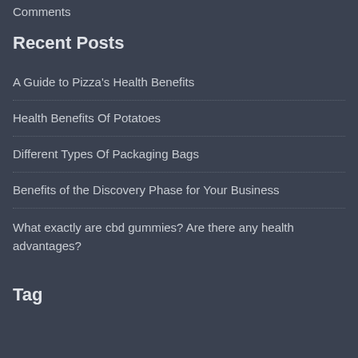Comments
Recent Posts
A Guide to Pizza's Health Benefits
Health Benefits Of Potatoes
Different Types Of Packaging Bags
Benefits of the Discovery Phase for Your Business
What exactly are cbd gummies? Are there any health advantages?
Tag